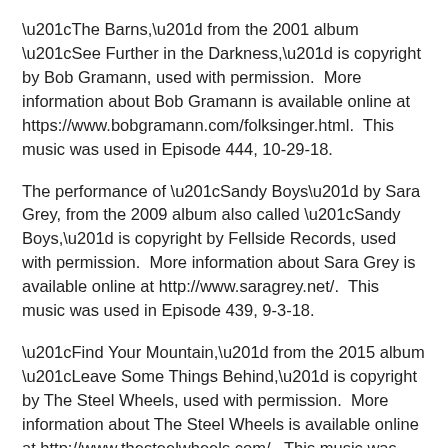“The Barns,” from the 2001 album “See Further in the Darkness,” is copyright by Bob Gramann, used with permission.  More information about Bob Gramann is available online at https://www.bobgramann.com/folksinger.html.  This music was used in Episode 444, 10-29-18.
The performance of “Sandy Boys” by Sara Grey, from the 2009 album also called “Sandy Boys,” is copyright by Fellside Records, used with permission.  More information about Sara Grey is available online at http://www.saragrey.net/.  This music was used in Episode 439, 9-3-18.
“Find Your Mountain,” from the 2015 album “Leave Some Things Behind,” is copyright by The Steel Wheels, used with permission.  More information about The Steel Wheels is available online at http://www.thesteelwheels.com/.  This music was used in Episode 425, 6-18-18.
“The Prettiest Marsh,” from the 2012 album and songbook